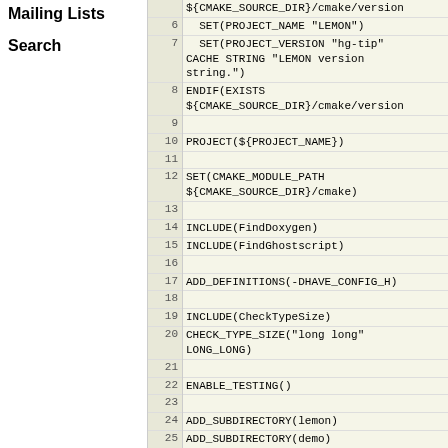Mailing Lists
Search
| Line | Code |
| --- | --- |
|  | ${CMAKE_SOURCE_DIR}/cmake/version |
| 6 |   SET(PROJECT_NAME "LEMON") |
| 7 |   SET(PROJECT_VERSION "hg-tip" CACHE STRING "LEMON version string.") |
| 8 | ENDIF(EXISTS ${CMAKE_SOURCE_DIR}/cmake/version |
| 9 |  |
| 10 | PROJECT(${PROJECT_NAME}) |
| 11 |  |
| 12 | SET(CMAKE_MODULE_PATH ${CMAKE_SOURCE_DIR}/cmake) |
| 13 |  |
| 14 | INCLUDE(FindDoxygen) |
| 15 | INCLUDE(FindGhostscript) |
| 16 |  |
| 17 | ADD_DEFINITIONS(-DHAVE_CONFIG_H) |
| 18 |  |
| 19 | INCLUDE(CheckTypeSize) |
| 20 | CHECK_TYPE_SIZE("long long" LONG_LONG) |
| 21 |  |
| 22 | ENABLE_TESTING() |
| 23 |  |
| 24 | ADD_SUBDIRECTORY(lemon) |
| 25 | ADD_SUBDIRECTORY(demo) |
| 26 | ADD_SUBDIRECTORY(doc) |
| 27 | ADD_SUBDIRECTORY(test) |
| 28 |  |
| 29 | IF(WIN32) |
| 30 |   SET(CPACK_PACKAGE_NAME ${PROJECT_NAME}) |
| 31 |   SET(CPACK_PACKAGE_VENDOR "EGRES") |